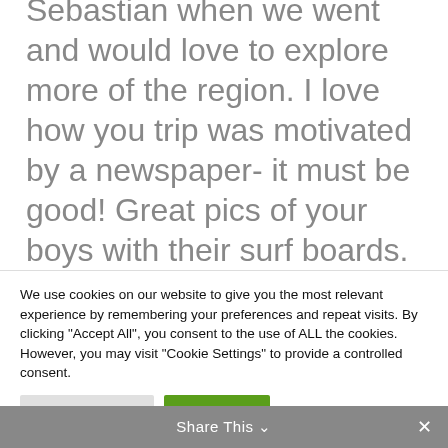Sebastian when we went and would love to explore more of the region. I love how you trip was motivated by a newspaper- it must be good! Great pics of your boys with their surf boards. It's lovely to go back to places with older eyes and reminisce
We use cookies on our website to give you the most relevant experience by remembering your preferences and repeat visits. By clicking "Accept All", you consent to the use of ALL the cookies. However, you may visit "Cookie Settings" to provide a controlled consent.
Cookie Settings   Accept All
Share This ∨  ✕